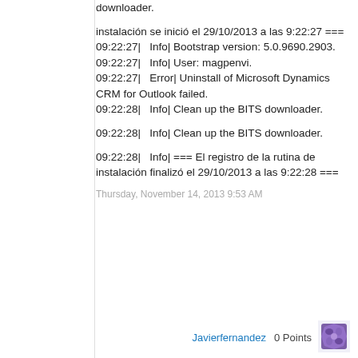downloader.

instalación se inició el 29/10/2013 a las 9:22:27 ===
09:22:27|   Info| Bootstrap version: 5.0.9690.2903.
09:22:27|   Info| User: magpenvi.
09:22:27|   Error| Uninstall of Microsoft Dynamics CRM for Outlook failed.
09:22:28|   Info| Clean up the BITS downloader.

09:22:28|   Info| Clean up the BITS downloader.

09:22:28|   Info| === El registro de la rutina de instalación finalizó el 29/10/2013 a las 9:22:28 ===
Thursday, November 14, 2013 9:53 AM
Javierfernandez   0 Points